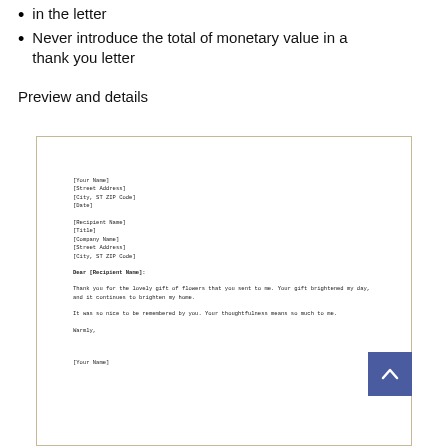in the letter
Never introduce the total of monetary value in a thank you letter
Preview and details
[Figure (illustration): A letter template preview showing a sample thank you letter with placeholder fields for name, address, date, recipient info, salutation 'Dear [Recipient Name]:', body text about a gift of flowers, closing 'Warmly,' and signature '[Your Name]']